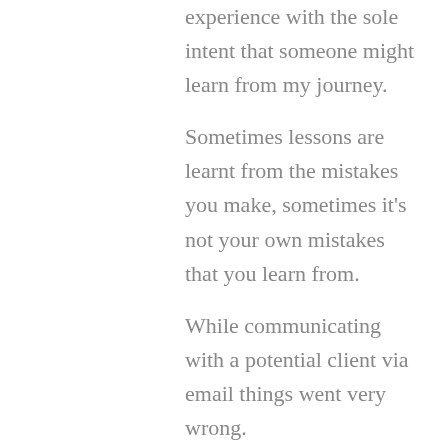experience with the sole intent that someone might learn from my journey.
Sometimes lessons are learnt from the mistakes you make, sometimes it's not your own mistakes that you learn from.
While communicating with a potential client via email things went very wrong.
I've truly never been so completely misunderstood while actually agreeing with a person.